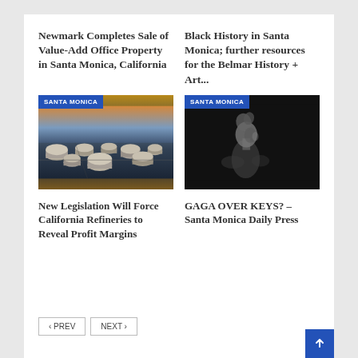Newmark Completes Sale of Value-Add Office Property in Santa Monica, California
Black History in Santa Monica; further resources for the Belmar History + Art...
[Figure (photo): Aerial view of oil storage tanks at an industrial refinery facility, taken at dusk with warm and cool tones]
[Figure (photo): Black and white portrait of a person with stylized hair, looking to the side against a dark background]
New Legislation Will Force California Refineries to Reveal Profit Margins
GAGA OVER KEYS? – Santa Monica Daily Press